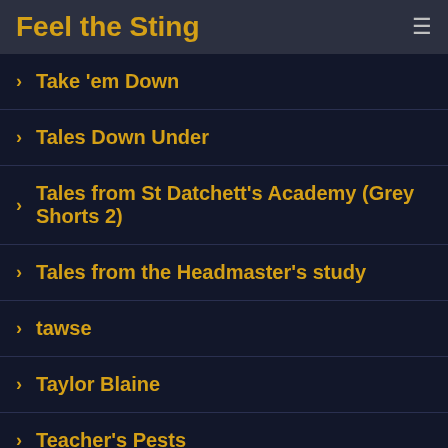Feel the Sting
> Take 'em Down
> Tales Down Under
> Tales from St Datchett's Academy (Grey Shorts 2)
> Tales from the Headmaster's study
> tawse
> Taylor Blaine
> Teacher's Pests
> Ted Kalem
> Teresa Hardison
> The 8th Commandment
> The Bike Thief